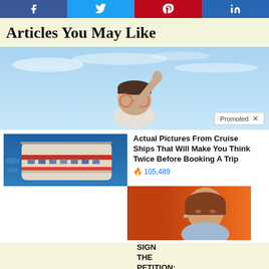[Figure (other): Social share buttons row: Facebook, Twitter, Pinterest, LinkedIn]
Articles You May Like
[Figure (photo): Child with orange sunglasses raising hand against blue sky, with Promoted badge]
[Figure (photo): Aerial view of cruise ship deck]
Actual Pictures From Cruise Ships That Will Make You Think Twice Before Booking A Trip
105,489
[Figure (photo): Portrait of Nancy Pelosi against orange background]
SIGN THE PETITION: 100,000 Signatures to Impeach Speaker Nancy Pelosi
52,574